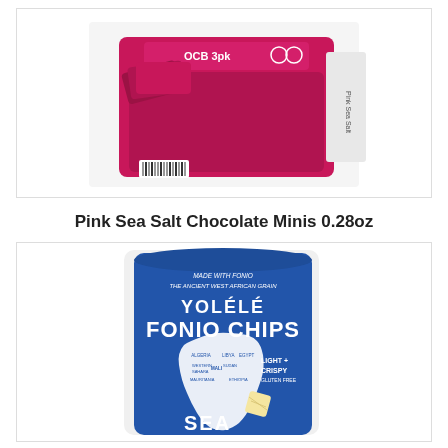[Figure (photo): Product photo of Pink Sea Salt Chocolate Minis display box (pink/magenta colored retail display box with individual chocolate mini bars)]
Pink Sea Salt Chocolate Minis 0.28oz
[Figure (photo): Product photo of Yolélé Fonio Chips Sea Salt flavor - blue bag with white text 'Made with Fonio the Ancient West African Grain' and map of Africa, 'Light + Crispy, Gluten Free']